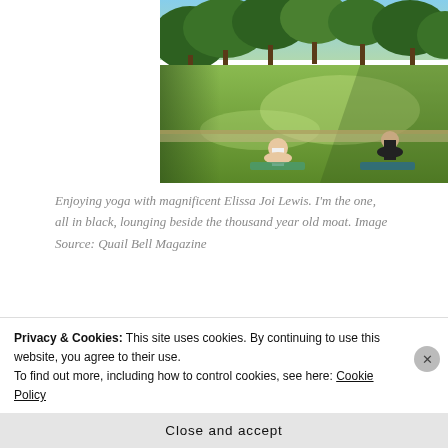[Figure (photo): Two women doing yoga on a grassy lawn in a park, with trees in the background. One is seated cross-legged in a white top, the other in black. Yoga mats are visible on the grass.]
Enjoying yoga with magnificent Elissa Joi Lewis. I'm the one, all in black, lounging beside the thousand year old moat. Image Source: Quail Bell Magazine
[Figure (photo): Partial view of podcast/magazine covers including '99% Invisible' and another blue publication, overlapping.]
Privacy & Cookies: This site uses cookies. By continuing to use this website, you agree to their use.
To find out more, including how to control cookies, see here: Cookie Policy
Close and accept